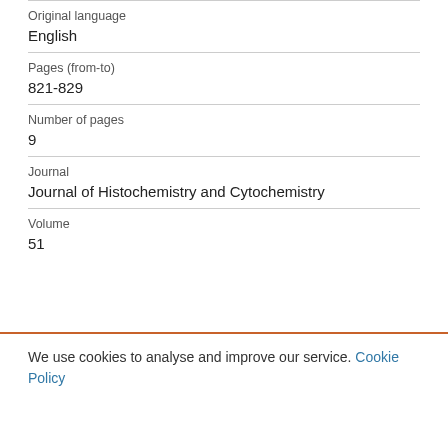| Original language | English |
| Pages (from-to) | 821-829 |
| Number of pages | 9 |
| Journal | Journal of Histochemistry and Cytochemistry |
| Volume | 51 |
We use cookies to analyse and improve our service. Cookie Policy